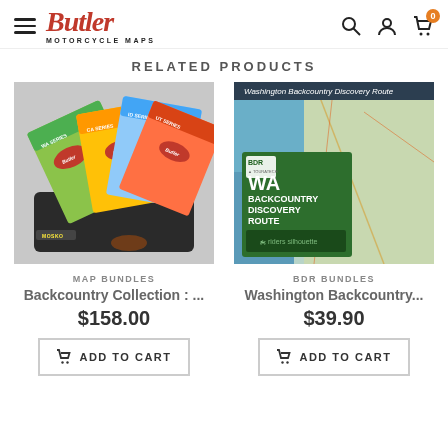[Figure (logo): Butler Motorcycle Maps logo with hamburger menu icon]
RELATED PRODUCTS
[Figure (photo): Backcountry Collection map bundle with multiple folded motorcycle maps in a black carrying case]
MAP BUNDLES
Backcountry Collection : ...
$158.00
ADD TO CART
[Figure (photo): Washington Backcountry Discovery Route BDR bundle with DVD and map]
BDR BUNDLES
Washington Backcountry...
$39.90
ADD TO CART